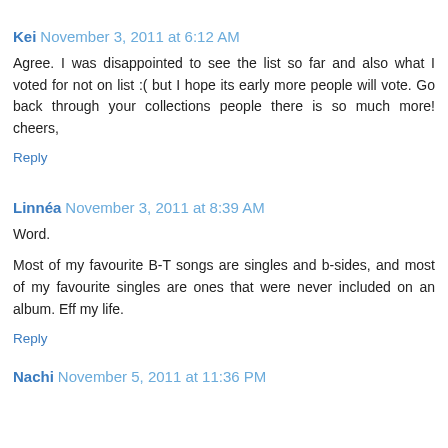Kei  November 3, 2011 at 6:12 AM
Agree. I was disappointed to see the list so far and also what I voted for not on list :( but I hope its early more people will vote. Go back through your collections people there is so much more! cheers,
Reply
Linnéa  November 3, 2011 at 8:39 AM
Word.
Most of my favourite B-T songs are singles and b-sides, and most of my favourite singles are ones that were never included on an album. Eff my life.
Reply
Nachi  November 5, 2011 at 11:36 PM